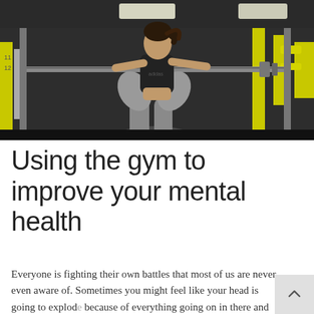[Figure (photo): A young woman in a black sports bra and grey leggings performing a squat with a barbell on her shoulders in a gym with yellow equipment accents, dark flooring, and overhead lighting.]
Using the gym to improve your mental health
Everyone is fighting their own battles that most of us are never even aware of. Sometimes you might feel like your head is going to explode because of everything going on in there and...